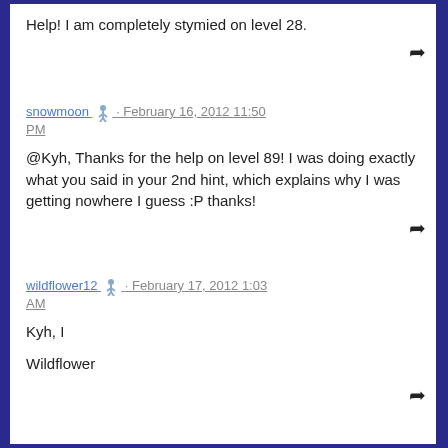Help! I am completely stymied on level 28.
snowmoon · February 16, 2012 11:50 PM
@Kyh, Thanks for the help on level 89! I was doing exactly what you said in your 2nd hint, which explains why I was getting nowhere I guess :P thanks!
wildflower12 · February 17, 2012 1:03 AM
Kyh, I

Wildflower